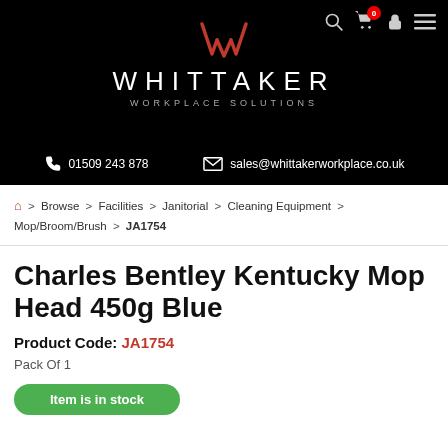[Figure (logo): Whittaker Workplace Solutions logo with red W emblem on black background, showing contact number 01509 243 878 and email sales@whittakerworkplace.co.uk, with navigation icons (search, cart with badge 0, lock, hamburger menu)]
🏠 > Browse > Facilities > Janitorial > Cleaning Equipment > Mop/Broom/Brush > JA1754
Charles Bentley Kentucky Mop Head 450g Blue
Product Code: JA1754
Pack Of 1
Item is in stock